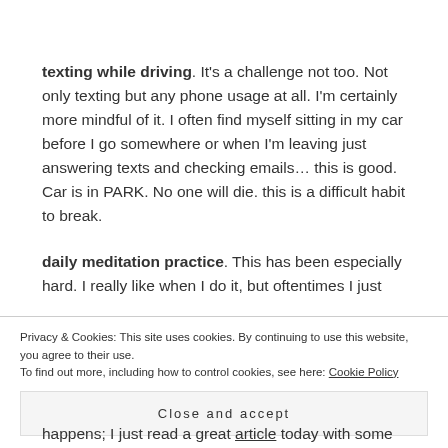texting while driving. It's a challenge not too. Not only texting but any phone usage at all. I'm certainly more mindful of it. I often find myself sitting in my car before I go somewhere or when I'm leaving just answering texts and checking emails… this is good. Car is in PARK. No one will die. this is a difficult habit to break.
daily meditation practice. This has been especially hard. I really like when I do it, but oftentimes I just wake up and start my day and before I know it… I happens; I just read a great article today with some
Privacy & Cookies: This site uses cookies. By continuing to use this website, you agree to their use. To find out more, including how to control cookies, see here: Cookie Policy
Close and accept